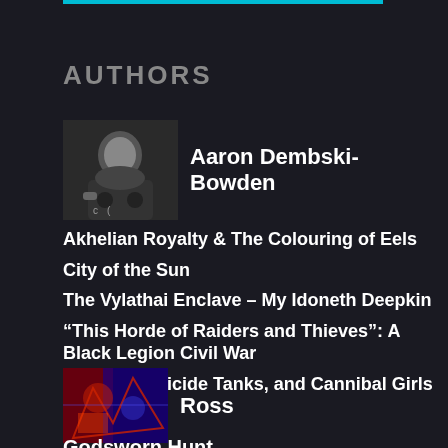AUTHORS
[Figure (photo): Black and white photo thumbnail of Aaron Dembski-Bowden]
Aaron Dembski-Bowden
Akhelian Royalty & The Colouring of Eels
City of the Sun
The Vylathai Enclave – My Idoneth Deepkin
“This Horde of Raiders and Thieves”: A Black Legion Civil War
Ratfinks, Suicide Tanks, and Cannibal Girls
[Figure (photo): Colorful thumbnail photo for Ross author]
Ross
Godsworn Hunt